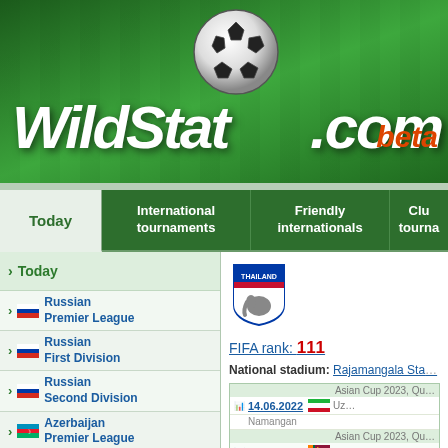WildStat.com beta
Today | International tournaments | Friendly internationals | Club tournaments
Today
Russian Premier League
Russian First Division
Russian Second Division
Azerbaijan Premier League
Armenian Premier League
Belarusian Premier League
Kazakhstan Premier League
Moldova National Division
Austria
[Figure (illustration): Thailand national football team badge/crest]
FIFA rank: 111
National stadium: Rajamangala Stadium
| Date | Competition | Opponent |
| --- | --- | --- |
| 14.06.2022 | Asian Cup 2023, Qu... | Uzbekistan (Namangan) |
| 11.06.2022 | Asian Cup 2023, Qu... | Sri Lanka (Namangan) |
| 08.06.2022 | Asian Cup 2023, Qu... | Thailand (Namangan) |
| 31.05.2022 | Friendly... | Thailand (Thanyaburi) |